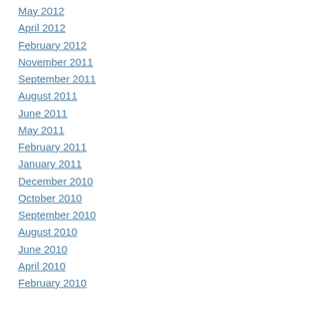May 2012
April 2012
February 2012
November 2011
September 2011
August 2011
June 2011
May 2011
February 2011
January 2011
December 2010
October 2010
September 2010
August 2010
June 2010
April 2010
February 2010